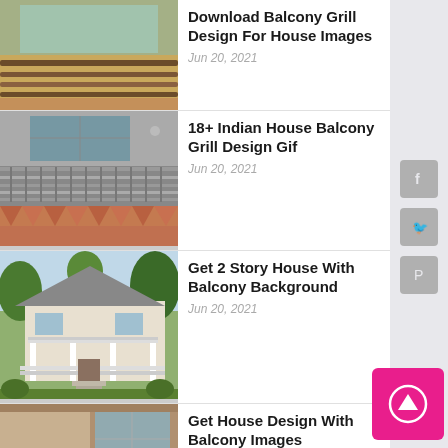Download Balcony Grill Design For House Images
Jun 20, 2021
18+ Indian House Balcony Grill Design Gif
Jun 20, 2021
Get 2 Story House With Balcony Background
Jun 20, 2021
Get House Design With Balcony Images
Jun 20, 2021